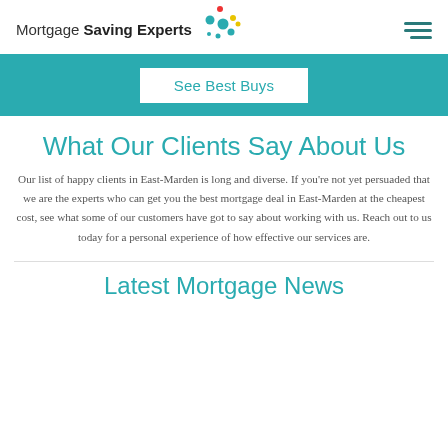Mortgage Saving Experts
[Figure (other): Teal/cyan banner with a white 'See Best Buys' button in the center]
What Our Clients Say About Us
Our list of happy clients in East-Marden is long and diverse. If you're not yet persuaded that we are the experts who can get you the best mortgage deal in East-Marden at the cheapest cost, see what some of our customers have got to say about working with us. Reach out to us today for a personal experience of how effective our services are.
Latest Mortgage News